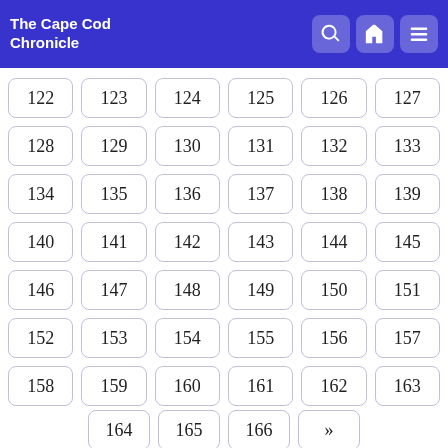The Cape Cod Chronicle
122 123 124 125 126 127 128 129 130 131 132 133 134 135 136 137 138 139 140 141 142 143 144 145 146 147 148 149 150 151 152 153 154 155 156 157 158 159 160 161 162 163 164 165 166 »